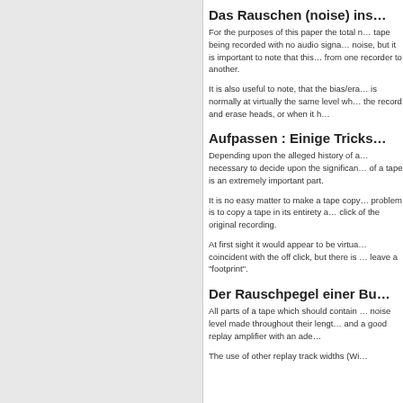Das Rauschen (noise) ins…
For the purposes of this paper the total noise is defined as the noise produced by a tape being recorded with no audio signal present. This is commonly called residual noise, but it is important to note that this noise level can vary considerably from one recorder to another.
It is also useful to note, that the bias/erase oscillator noise contribution is normally at virtually the same level whether the oscillator is connected to the record and erase heads, or when it h…
Aufpassen : Einige Tricks…
Depending upon the alleged history of a tape under examination it may be necessary to decide upon the significance of certain findings. The noise level of a tape is an extremely important part.
It is no easy matter to make a tape copy which does not betray itself. The problem is to copy a tape in its entirety and synchronise it to the on and off click of the original recording.
At first sight it would appear to be virtually impossible to produce a click coincident with the off click, but there is one technique which tends to leave a "footprint".
Der Rauschpegel einer Bu…
All parts of a tape which should contain no signal should show a constant noise level made throughout their length. This requires a good quality tape and a good replay amplifier with an ade…
The use of other replay track widths (Wi…